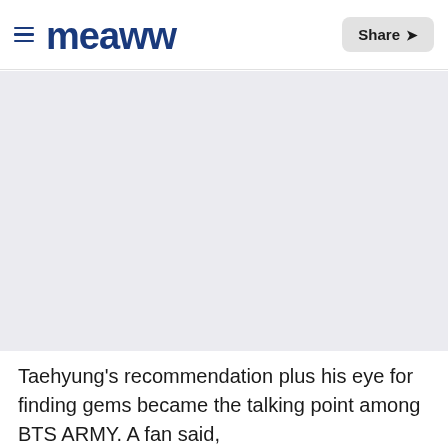meaww — Share
[Figure (photo): Large image placeholder area with light gray background]
Taehyung's recommendation plus his eye for finding gems became the talking point among BTS ARMY. A fan said,